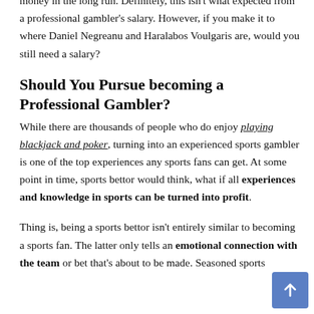On the contrary, so long as you have discipline and control of your gambling habits, you might find yourself generating money in the long run. Definitely, this isn't what expected from a professional gambler's salary. However, if you make it to where Daniel Negreanu and Haralabos Voulgaris are, would you still need a salary?
Should You Pursue becoming a Professional Gambler?
While there are thousands of people who do enjoy playing blackjack and poker, turning into an experienced sports gambler is one of the top experiences any sports fans can get. At some point in time, sports bettor would think, what if all experiences and knowledge in sports can be turned into profit.
Thing is, being a sports bettor isn't entirely similar to becoming a sports fan. The latter only tells an emotional connection with the team or bet that's about to be made. Seasoned sports